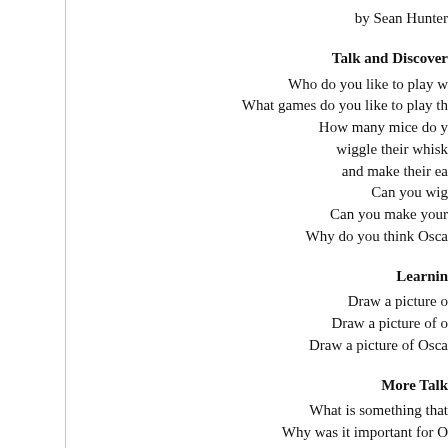by Sean Hunter
Talk and Discover
Who do you like to play w
What games do you like to play th
How many mice do y
wiggle their whisk
and make their ea
Can you wig
Can you make your
Why do you think Osca
Learnin
Draw a picture o
Draw a picture of o
Draw a picture of Osca
More Talk
What is something that
Why was it important for O
Do you think there are
More, Talk, Ta
Do you know
Do you think Oscar will tea
to whistle any
What would be a good so
Extra
Todd Evans, who has